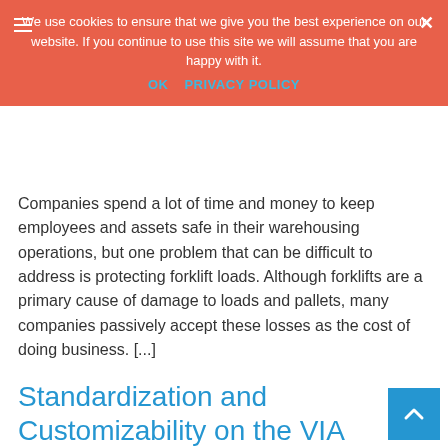We use cookies to ensure that we give you the best experience on our website. If you continue to use this site we will assume that you are happy with it. OK  PRIVACY POLICY
telematics, VIA Mobile360 Forklift Safety System, warehouse safety
Companies spend a lot of time and money to keep employees and assets safe in their warehousing operations, but one problem that can be difficult to address is protecting forklift loads. Although forklifts are a primary cause of damage to loads and pallets, many companies passively accept these losses as the cost of doing business. [...]
Standardization and Customizability on the VIA Mobile360 Forklift Safety